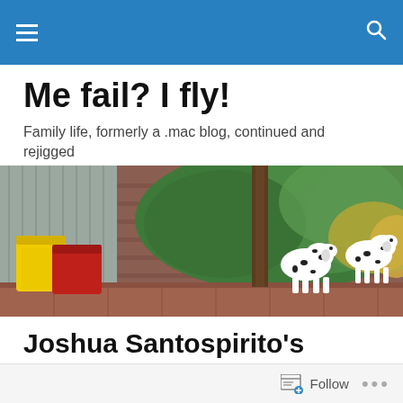Navigation bar with menu and search icons
Me fail? I fly!
Family life, formerly a .mac blog, continued and rejigged
[Figure (photo): Outdoor scene showing dalmatian dog figurines near a brick garden bed with green plants and foliage, yellow and red wheelie bins on the left, and a weatherboard house in the background]
Joshua Santospirito's Craig San Roque's Long Weekend in Alice Springs
Follow  •••